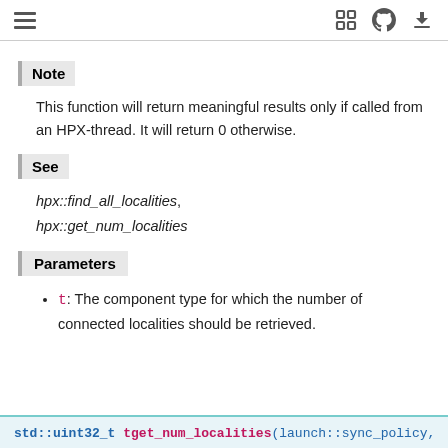≡  [fullscreen icon] [github icon] [download icon]
Note
This function will return meaningful results only if called from an HPX-thread. It will return 0 otherwise.
See
hpx::find_all_localities,
hpx::get_num_localities
Parameters
t: The component type for which the number of connected localities should be retrieved.
std::uint32_t tget_num_localities(launch::sync_policy,